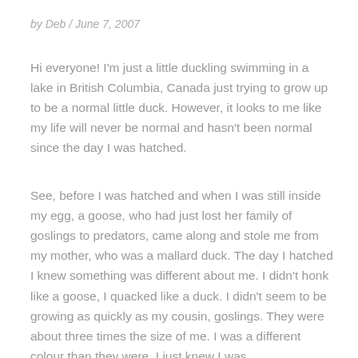by Deb / June 7, 2007
Hi everyone! I'm just a little duckling swimming in a lake in British Columbia, Canada just trying to grow up to be a normal little duck. However, it looks to me like my life will never be normal and hasn't been normal since the day I was hatched.
See, before I was hatched and when I was still inside my egg, a goose, who had just lost her family of goslings to predators, came along and stole me from my mother, who was a mallard duck. The day I hatched I knew something was different about me. I didn't honk like a goose, I quacked like a duck. I didn't seem to be growing as quickly as my cousin, goslings. They were about three times the size of me. I was a different colour than they were. I just knew I was